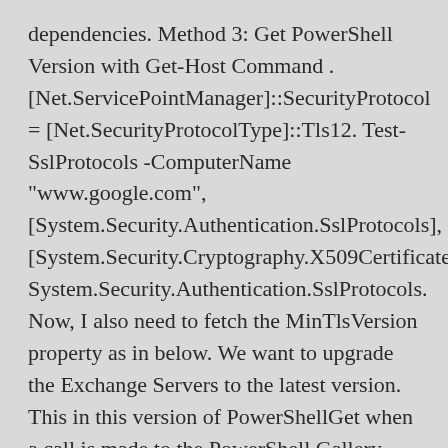dependencies. Method 3: Get PowerShell Version with Get-Host Command . [Net.ServicePointManager]::SecurityProtocol = [Net.SecurityProtocolType]::Tls12. Test-SslProtocols -ComputerName "www.google.com", [System.Security.Authentication.SslProtocols], [System.Security.Cryptography.X509Certificates.X509Certificate], System.Security.Authentication.SslProtocols. Now, I also need to fetch the MinTlsVersion property as in below. We want to upgrade the Exchange Servers to the latest version. This in this version of PowerShellGet when a call is made to the PowerShell Gallery, PowerShellGet will save the user's current security protocol setting, then it it'll change the security